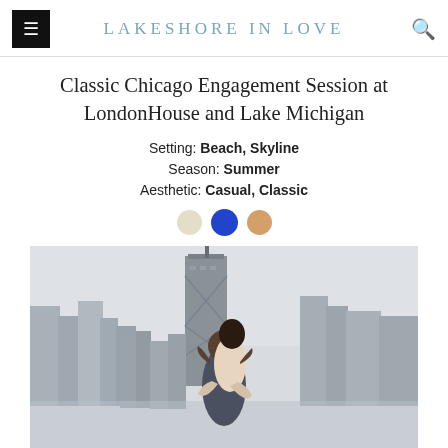LAKESHORE IN LOVE
Classic Chicago Engagement Session at LondonHouse and Lake Michigan
Setting: Beach, Skyline
Season: Summer
Aesthetic: Casual, Classic
[Figure (photo): Couple kissing in front of the Chicago skyline near Lake Michigan. A man lifts a woman as they embrace, with tall skyscrapers including the John Hancock Center visible in the background.]